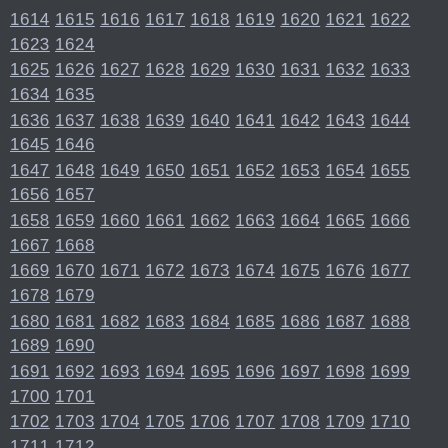1614 1615 1616 1617 1618 1619 1620 1621 1622 1623 1624
1625 1626 1627 1628 1629 1630 1631 1632 1633 1634 1635
1636 1637 1638 1639 1640 1641 1642 1643 1644 1645 1646
1647 1648 1649 1650 1651 1652 1653 1654 1655 1656 1657
1658 1659 1660 1661 1662 1663 1664 1665 1666 1667 1668
1669 1670 1671 1672 1673 1674 1675 1676 1677 1678 1679
1680 1681 1682 1683 1684 1685 1686 1687 1688 1689 1690
1691 1692 1693 1694 1695 1696 1697 1698 1699 1700 1701
1702 1703 1704 1705 1706 1707 1708 1709 1710 1711 1712
1713 1714 1715 1716 1717 1718 1719 1720 1721 1722 1723
1724 1725 1726 1727 1728 1729 1730 1731 1732 1733 1734
1735 1736 1737 1738 1739 1740 1741 1742 1743 1744 1745
1746 1747 1748 1749 1750 1751 1752 1753 1754 1755 1756
1757 1758 1759 1760 1761 1762 1763 1764 1765 1766 1767
1768 1769 1770 1771 1772 1773 1774 1775 1776 1777 1778
1779 1780 1781 1782 1783 1784 1785 1786 1787 1788 1789
1790 1791 1792 1793 1794 1795 1796 1797 1798 1799 1800
1801 1802 1803 1804 1805 1806 1807 1808 1809 1810 1811
1812 1813 1814 1815 1816 1817 1818 1819 1820 1821 1822
1823 1824 1825 1826 1827 1828 1829 1830 1831 1832 1833
1834 1835 1836 1837 1838 1839 1840 1841 1842 1843 1844